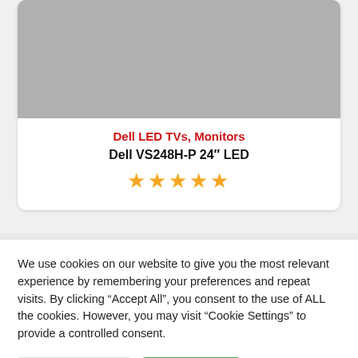[Figure (photo): Gray product image placeholder for Dell VS248H-P 24 inch LED monitor]
Dell LED TVs, Monitors
Dell VS248H-P 24″ LED
★★★★★
We use cookies on our website to give you the most relevant experience by remembering your preferences and repeat visits. By clicking "Accept All", you consent to the use of ALL the cookies. However, you may visit "Cookie Settings" to provide a controlled consent.
Cookie Settings | Accept All